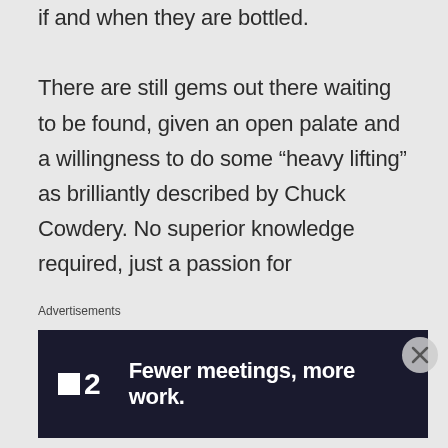if and when they are bottled.

There are still gems out there waiting to be found, given an open palate and a willingness to do some “heavy lifting” as brilliantly described by Chuck Cowdery. No superior knowledge required, just a passion for
Advertisements
[Figure (screenshot): Advertisement banner with dark navy background. Left side shows a logo with a small white square and the number '2' in white bold text. Right side shows the text 'Fewer meetings, more work.' in bold white text.]